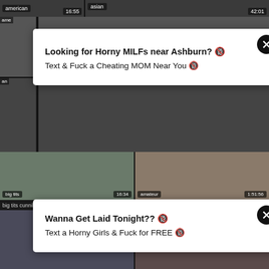[Figure (screenshot): Adult video website screenshot with thumbnail grid and two advertisement overlays. Top row shows video thumbnails with labels 'american' (16:55) and 'asian' (42:01). Two white ad pop-ups overlay left-side thumbnails. First ad: 'Looking for Horny MILFs near Ashburn? Text & Fuck a Cheating MOM Near You'. Second ad: 'Wanna Get Laid Tonight?? Text a Horny Girls & Fuck for FREE'. Below are large video thumbnails: 'big tits cunnilingus european Porn' (16:34) and 'amateur japanese mature Porn Mature' (1:51:56). Partial bottom row visible.]